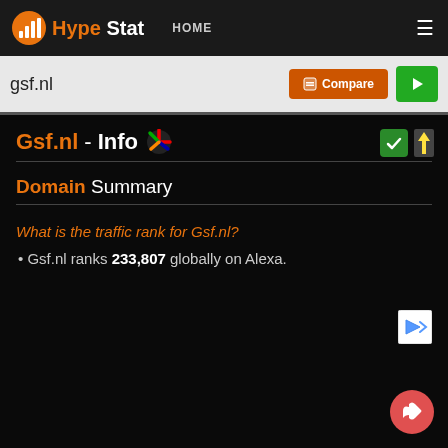HypeStat HOME
gsf.nl
Gsf.nl - Info
Domain Summary
What is the traffic rank for Gsf.nl?
Gsf.nl ranks 233,807 globally on Alexa.